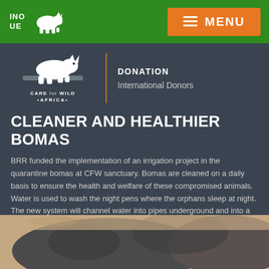RHINO RESCUE — MENU (navigation bar with logo and orange MENU button)
DONATION
International Donors
CLEANER AND HEALTHIER BOMAS
BRR funded the implementation of an irrigation project in the quarantine bomas at CFW sanctuary. Bomas are cleaned on a daily basis to ensure the health and welfare of these compromised animals. Water is used to wash the night pens where the orphans sleep at night. The new system will channel water into pipes underground and into a treatment area away from the bomas. This will ensure that the bomas are more hygienic and if there are heavy rains, there is little soil erosion.
[Figure (photo): Close-up photo of a baby rhino lying on sandy ground]